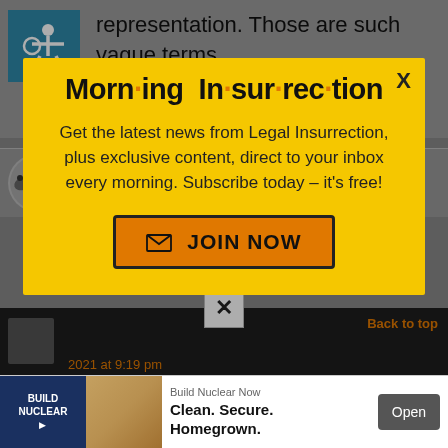representation. Those are such vague terms.
henrybowman in reply to
[Figure (infographic): Modal popup advertisement for Morning Insurrection newsletter by Legal Insurrection. Yellow background with bold title 'Morn·ing In·sur·rec·tion' with orange dots, body text inviting subscription, and orange 'JOIN NOW' button with envelope icon. Has an X close button in top right.]
2021 at 9:19 pm
[Figure (infographic): Advertisement banner: Build Nuclear Now - Clean. Secure. Homegrown. with Open button]